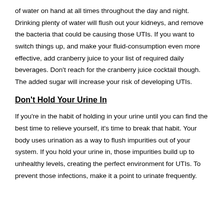of water on hand at all times throughout the day and night. Drinking plenty of water will flush out your kidneys, and remove the bacteria that could be causing those UTIs. If you want to switch things up, and make your fluid-consumption even more effective, add cranberry juice to your list of required daily beverages. Don't reach for the cranberry juice cocktail though. The added sugar will increase your risk of developing UTIs.
Don't Hold Your Urine In
If you're in the habit of holding in your urine until you can find the best time to relieve yourself, it's time to break that habit. Your body uses urination as a way to flush impurities out of your system. If you hold your urine in, those impurities build up to unhealthy levels, creating the perfect environment for UTIs. To prevent those infections, make it a point to urinate frequently.